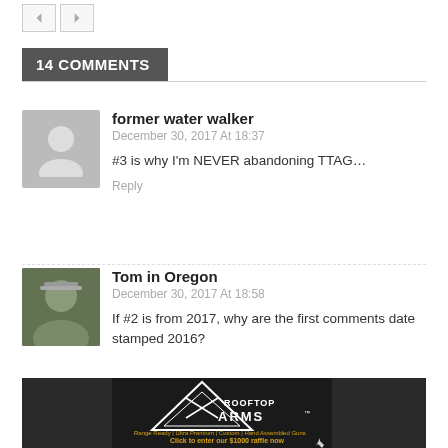14 COMMENTS
former water walker
December 30, 2017 At 18:37
#3 is why I'm NEVER abandoning TTAG…
Reply
Tom in Oregon
December 30, 2017 At 18:58
If #2 is from 2017, why are the first comments date stamped 2016?
[Figure (photo): Rooftop Arms advertisement banner with triangle logo, rifles, and text: Range Ready | Ultra Premium | Custom | Hand Assembled Guns. Click to enter our $1000 raffle now. USA MADE - VETERAN OWNED.]